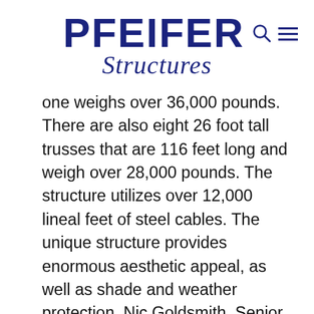PFEIFER Structures
one weighs over 36,000 pounds. There are also eight 26 foot tall trusses that are 116 feet long and weigh over 28,000 pounds. The structure utilizes over 12,000 lineal feet of steel cables. The unique structure provides enormous aesthetic appeal, as well as shade and weather protection. Nic Goldsmith, Senior Principal of FTL Design, also notes its environmentally friendly features. “There are catch basins at various